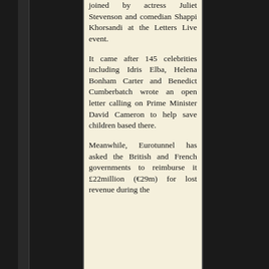joined by actress Juliet Stevenson and comedian Shappi Khorsandi at the Letters Live event.
It came after 145 celebrities including Idris Elba, Helena Bonham Carter and Benedict Cumberbatch wrote an open letter calling on Prime Minister David Cameron to help save children based there.
Meanwhile, Eurotunnel has asked the British and French governments to reimburse it £22million (€29m) for lost revenue during the